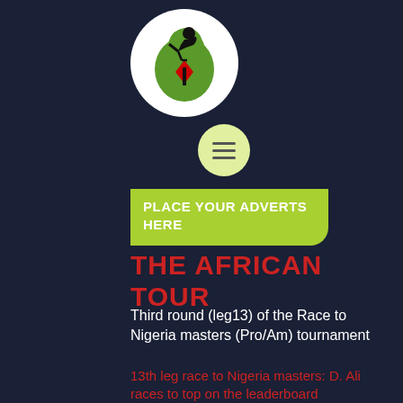[Figure (logo): African Tour golf logo: circular white background with Africa map in green, red diamond/golf tee marker, black golfer silhouette swinging a club]
[Figure (illustration): Hamburger menu icon in a light yellow-green circle]
PLACE YOUR ADVERTS HERE
THE AFRICAN TOUR
Third round (leg13) of the Race to Nigeria masters (Pro/Am) tournament
13th leg race to Nigeria masters: D. Ali races to top on the leaderboard